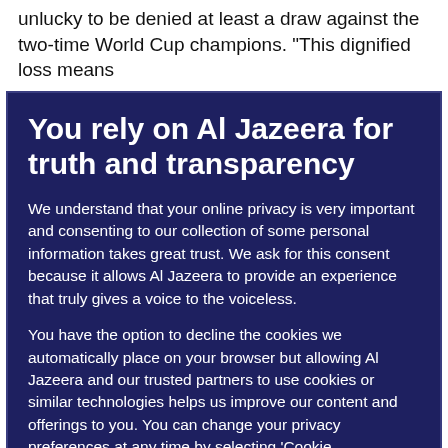unlucky to be denied at least a draw against the two-time World Cup champions. “This dignified loss means
You rely on Al Jazeera for truth and transparency
We understand that your online privacy is very important and consenting to our collection of some personal information takes great trust. We ask for this consent because it allows Al Jazeera to provide an experience that truly gives a voice to the voiceless.
You have the option to decline the cookies we automatically place on your browser but allowing Al Jazeera and our trusted partners to use cookies or similar technologies helps us improve our content and offerings to you. You can change your privacy preferences at any time by selecting ‘Cookie preferences’ at the bottom of your screen. To learn more, please view our Cookie Policy.